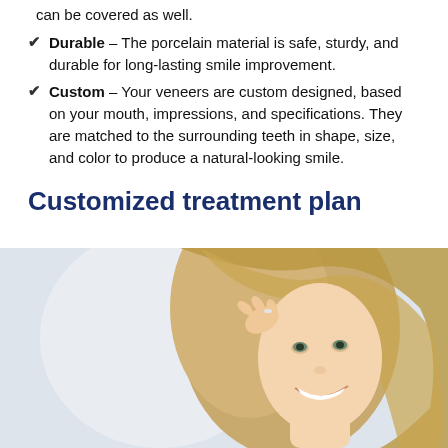can be covered as well.
Durable – The porcelain material is safe, sturdy, and durable for long-lasting smile improvement.
Custom – Your veneers are custom designed, based on your mouth, impressions, and specifications. They are matched to the surrounding teeth in shape, size, and color to produce a natural-looking smile.
Customized treatment plan
[Figure (photo): A smiling young woman with long blonde hair, looking upward and touching her hair, with a bright white smile.]